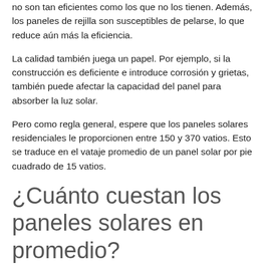no son tan eficientes como los que no los tienen. Además, los paneles de rejilla son susceptibles de pelarse, lo que reduce aún más la eficiencia.
La calidad también juega un papel. Por ejemplo, si la construcción es deficiente e introduce corrosión y grietas, también puede afectar la capacidad del panel para absorber la luz solar.
Pero como regla general, espere que los paneles solares residenciales le proporcionen entre 150 y 370 vatios. Esto se traduce en el vataje promedio de un panel solar por pie cuadrado de 15 vatios.
¿Cuánto cuestan los paneles solares en promedio?
El costo promedio de un panel solar es de alrededor de $0.65 a más de $2 por vatio para los modelos de gama alta. Eso significa que un sistema promedio de 6 kW le costará $12,000, dependiendo de la ubicación. Esto no